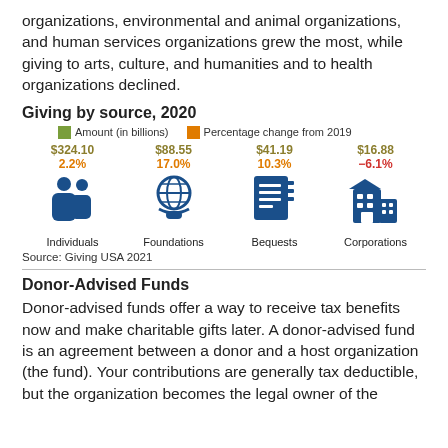organizations, environmental and animal organizations, and human services organizations grew the most, while giving to arts, culture, and humanities and to health organizations declined.
Giving by source, 2020
[Figure (infographic): Four icons representing giving by source in 2020: Individuals ($324.10, 2.2%), Foundations ($88.55, 17.0%), Bequests ($41.19, 10.3%), Corporations ($16.88, -6.1%). Legend shows green swatch for Amount (in billions) and orange swatch for Percentage change from 2019.]
Source: Giving USA 2021
Donor-Advised Funds
Donor-advised funds offer a way to receive tax benefits now and make charitable gifts later. A donor-advised fund is an agreement between a donor and a host organization (the fund). Your contributions are generally tax deductible, but the organization becomes the legal owner of the